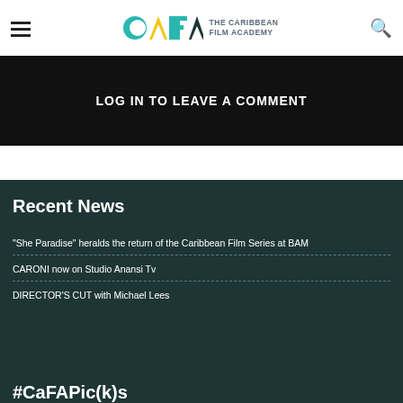CAFA – The Caribbean Film Academy
LOG IN TO LEAVE A COMMENT
Recent News
"She Paradise" heralds the return of the Caribbean Film Series at BAM
CARONI now on Studio Anansi Tv
DIRECTOR'S CUT with Michael Lees
#CaFAPic(k)s